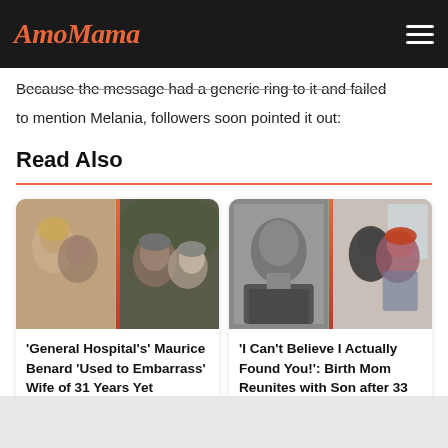AmoMama
Because the message had a generic ring to it and failed to mention Melania, followers soon pointed it out:
Read Also
[Figure (photo): Two split photos: left shows a young couple from a TV show, right shows Maurice Benard with his wife in a modern selfie]
'General Hospital's' Maurice Benard 'Used to Embarrass' Wife of 31 Years Yet Adopted Her Sister
[Figure (photo): Two split photos: left shows a black and white yearbook photo of a young man, right shows a woman with red hair hugging a man]
'I Can't Believe I Actually Found You!': Birth Mom Reunites with Son after 33 Years of Separation